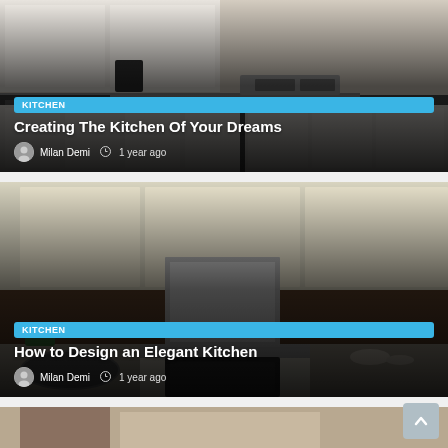[Figure (photo): Kitchen photo showing white cabinets with gray countertop, sink, and stovetop]
Creating The Kitchen Of Your Dreams
Milan Demi  1 year ago
[Figure (photo): Modern elegant kitchen with cream upper cabinets, dark wood lower cabinets, stainless appliances, and round sink]
How to Design an Elegant Kitchen
Milan Demi  1 year ago
[Figure (photo): Partial view of a third kitchen article card at the bottom]